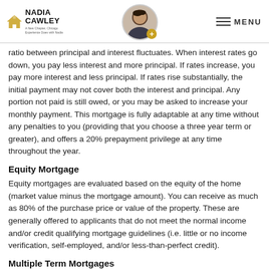Nadia Cawley — A New Chapter, Chicago. Experience Does with Nadia. [Navigation menu]
ratio between principal and interest fluctuates. When interest rates go down, you pay less interest and more principal. If rates increase, you pay more interest and less principal. If rates rise substantially, the initial payment may not cover both the interest and principal. Any portion not paid is still owed, or you may be asked to increase your monthly payment. This mortgage is fully adaptable at any time without any penalties to you (providing that you choose a three year term or greater), and offers a 20% prepayment privilege at any time throughout the year.
Equity Mortgage
Equity mortgages are evaluated based on the equity of the home (market value minus the mortgage amount). You can receive as much as 80% of the purchase price or value of the property. These are generally offered to applicants that do not meet the normal income and/or credit qualifying mortgage guidelines (i.e. little or no income verification, self-employed, and/or less-than-perfect credit).
Multiple Term Mortgages
This type of mortgage provides the convenience of the lower rates of a short term mortgage and the security of a long term, in one mortgage. Your mortgage can be split in to as many as five parts, all